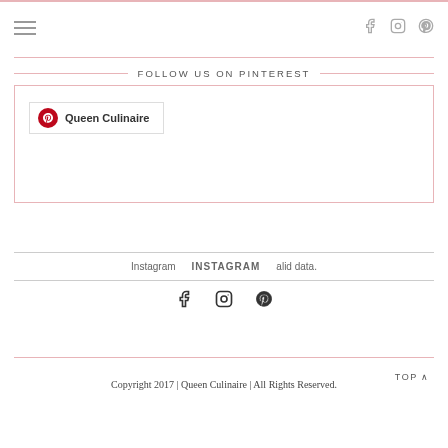Navigation and social icons header
FOLLOW US ON PINTEREST
[Figure (other): Pinterest follow button with Queen Culinaire label inside a bordered box]
Instagram  INSTAGRAM  alid data.
[Figure (other): Social media icons row: Facebook, Instagram, Pinterest]
Copyright 2017 | Queen Culinaire | All Rights Reserved.